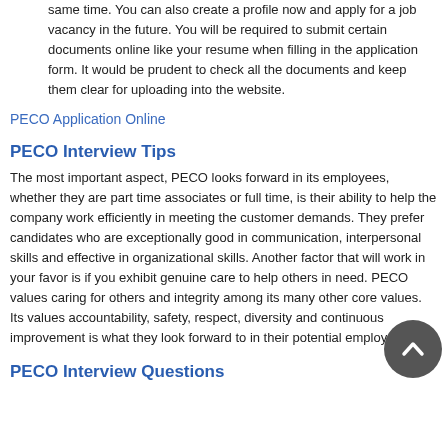same time. You can also create a profile now and apply for a job vacancy in the future. You will be required to submit certain documents online like your resume when filling in the application form. It would be prudent to check all the documents and keep them clear for uploading into the website.
PECO Application Online
PECO Interview Tips
The most important aspect, PECO looks forward in its employees, whether they are part time associates or full time, is their ability to help the company work efficiently in meeting the customer demands. They prefer candidates who are exceptionally good in communication, interpersonal skills and effective in organizational skills. Another factor that will work in your favor is if you exhibit genuine care to help others in need. PECO values caring for others and integrity among its many other core values. Its values accountability, safety, respect, diversity and continuous improvement is what they look forward to in their potential employees.
PECO Interview Questions